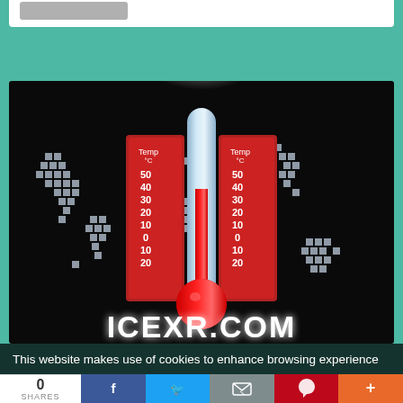[Figure (screenshot): Website screenshot showing a thermometer graphic over a world map with pixelated continents on dark background, with ICEXR.COM branding at the bottom. Temperature scales on both sides of the thermometer show values from -20 to 50 degrees Celsius.]
This website makes use of cookies to enhance browsing experience
0 SHARES
[Figure (logo): Social share bar with Facebook, Twitter, Email, Pinterest, and More (+) buttons]